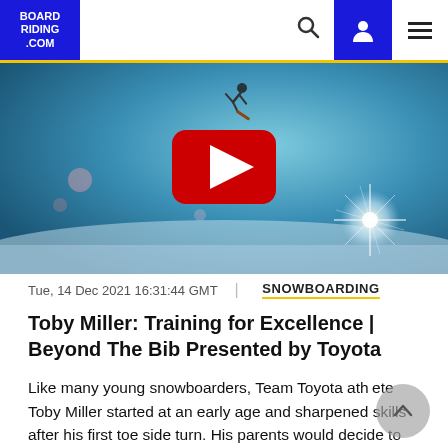BOARD RIDING .COM
[Figure (screenshot): Video thumbnail showing a snowboarder performing a trick against a blue winter sky background, with a YouTube play button overlay in the center]
Tue, 14 Dec 2021 16:31:44 GMT | SNOWBOARDING
Toby Miller: Training for Excellence | Beyond The Bib Presented by Toyota
Like many young snowboarders, Team Toyota athlete Toby Miller started at an early age and sharpened skills after his first toe side turn. His parents would decide to move from Big Bear Lake to Lake Tahoe, California, where the soon-to-be snowboard champ developed his